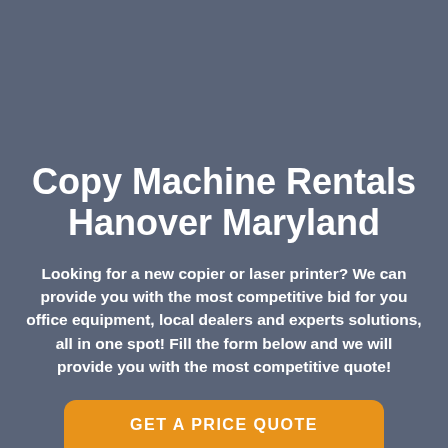Copy Machine Rentals Hanover Maryland
Looking for a new copier or laser printer? We can provide you with the most competitive bid for you office equipment, local dealers and experts solutions, all in one spot! Fill the form below and we will provide you with the most competitive quote!
GET A PRICE QUOTE